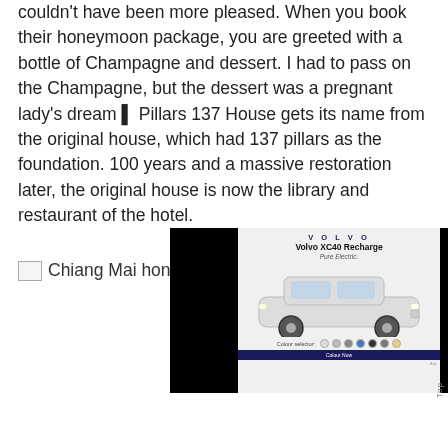couldn't have been more pleased. When you book their honeymoon package, you are greeted with a bottle of Champagne and dessert. I had to pass on the Champagne, but the dessert was a pregnant lady's dream ▌ Pillars 137 House gets its name from the original house, which had 137 pillars as the foundation. 100 years and a massive restoration later, the original house is now the library and restaurant of the hotel.
[Figure (photo): Partially visible image labeled 'Chiang Mai hon...' — a photo placeholder/thumbnail partially obscured by an advertisement overlay]
[Figure (screenshot): An advertisement overlay showing a Volvo XC40 Recharge Pure Electric car with color selector dots and a call-to-action button, displayed over a dark background]